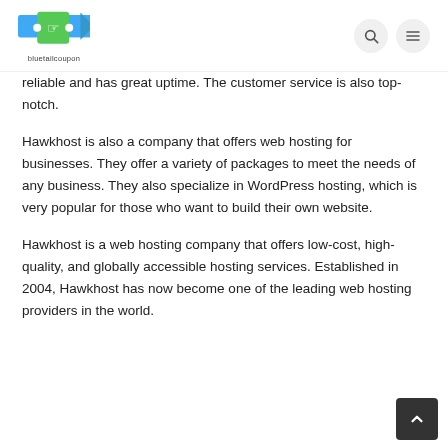bluetailcoupon
reliable and has great uptime. The customer service is also top-notch.
Hawkhost is also a company that offers web hosting for businesses. They offer a variety of packages to meet the needs of any business. They also specialize in WordPress hosting, which is very popular for those who want to build their own website.
Hawkhost is a web hosting company that offers low-cost, high-quality, and globally accessible hosting services. Established in 2004, Hawkhost has now become one of the leading web hosting providers in the world.